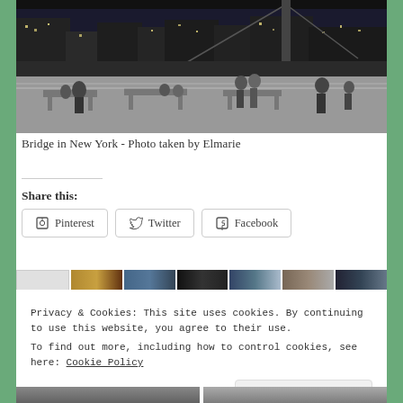[Figure (photo): Black and white night photo of people sitting on benches along a waterfront promenade with city lights and a large bridge structure visible in the background]
Bridge in New York - Photo taken by Elmarie
Share this:
Pinterest  Twitter  Facebook
Privacy & Cookies: This site uses cookies. By continuing to use this website, you agree to their use.
To find out more, including how to control cookies, see here: Cookie Policy
Close and accept